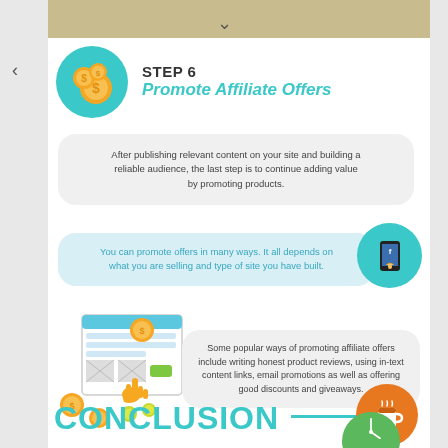[Figure (infographic): Step 6 infographic header with teal coin circle icon, text STEP 6 Promote Affiliate Offers, followed by two text bubbles and phone icon, then a website illustration with a third text bubble, and a CONCLUSION heading with orange coffee cup icon]
STEP 6
Promote Affiliate Offers
After publishing relevant content on your site and building a reliable audience, the last step is to continue adding value by promoting products.
You can promote offers in many ways. It all depends on what you are selling and type of site you have built.
Some popular ways of promoting affiliate offers include writing honest product reviews, using in-text content links, email promotions as well as offering good discounts and giveaways.
CONCLUSION